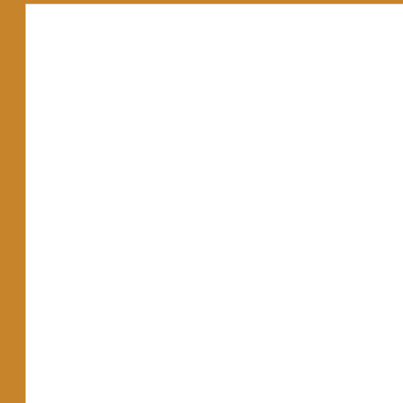[Figure (photo): White rectangular photo/image placeholder on left side of page against orange-brown background]
session. This summer will be his 9th see everyone there!
More About Chip
Favorite Tombstone pizza type: Pep
Favorite project at camp (that you d
Your three favorite movies of all tim
Preferred wanegan offering: Sour Sk
Best evening program at camp: Can
Favorite cartoon character: Do the A
Favorite camp (card) game: ERS or
If you could have lunch with any t Downey Jr. and Joss Whedon
What is your dream job: Camp Cou
A little known fact about yoursel
Tweets by @northstarcamp